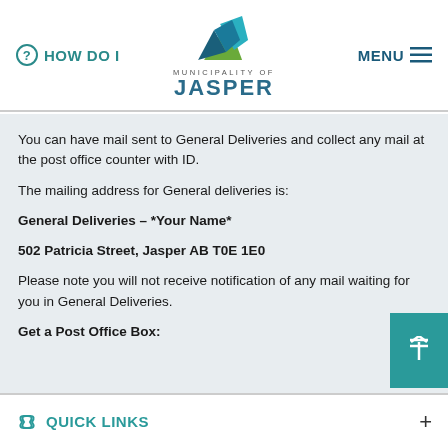HOW DO I   MUNICIPALITY OF JASPER   MENU
You can have mail sent to General Deliveries and collect any mail at the post office counter with ID.
The mailing address for General deliveries is:
General Deliveries – *Your Name*
502 Patricia Street, Jasper AB T0E 1E0
Please note you will not receive notification of any mail waiting for you in General Deliveries.
Get a Post Office Box:
QUICK LINKS +